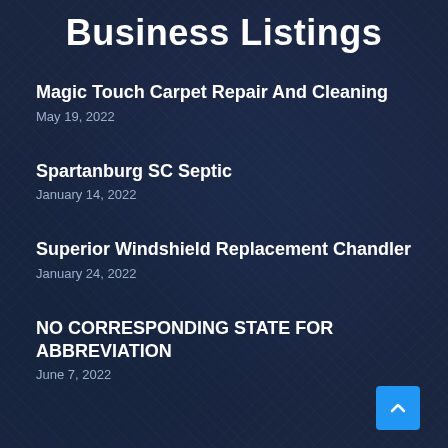Business Listings
Magic Touch Carpet Repair And Cleaning
May 19, 2022
Spartanburg SC Septic
January 14, 2022
Superior Windshield Replacement Chandler
January 24, 2022
NO CORRESPONDING STATE FOR ABBREVIATION
June 7, 2022